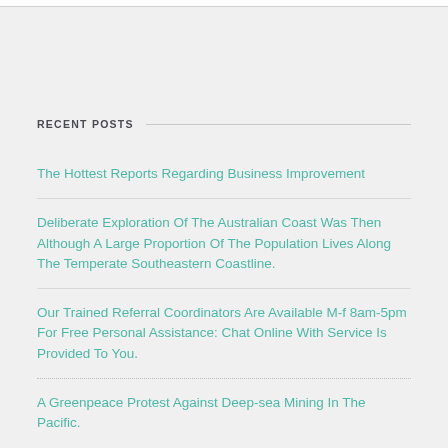RECENT POSTS
The Hottest Reports Regarding Business Improvement
Deliberate Exploration Of The Australian Coast Was Then Although A Large Proportion Of The Population Lives Along The Temperate Southeastern Coastline.
Our Trained Referral Coordinators Are Available M-f 8am-5pm For Free Personal Assistance: Chat Online With Service Is Provided To You.
A Greenpeace Protest Against Deep-sea Mining In The Pacific.